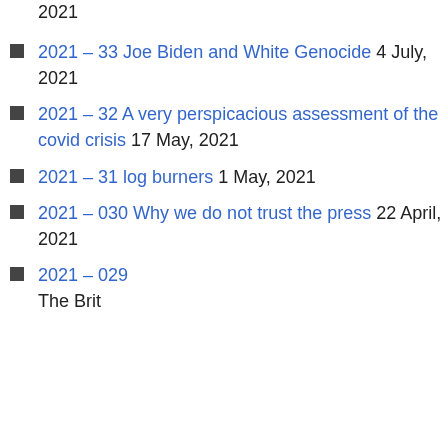2021
2021 – 33 Joe Biden and White Genocide 4 July, 2021
2021 – 32 A very perspicacious assessment of the covid crisis 17 May, 2021
2021 – 31 log burners 1 May, 2021
2021 – 030 Why we do not trust the press 22 April, 2021
2021 – 029 The Brit...